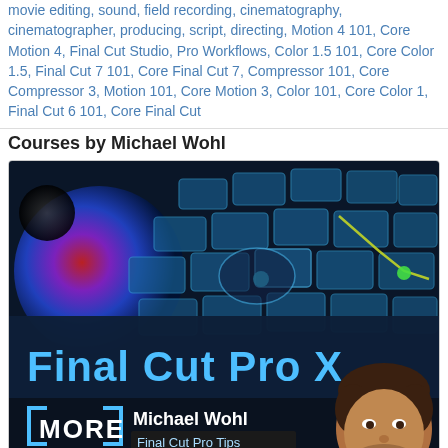movie editing, sound, field recording, cinematography, cinematographer, producing, script, directing, Motion 4 101, Core Motion 4, Final Cut Studio, Pro Workflows, Color 1.5 101, Core Color 1.5, Final Cut 7 101, Core Final Cut 7, Compressor 101, Core Compressor 3, Motion 101, Core Motion 3, Color 101, Core Color 1, Final Cut 6 101, Core Final Cut
Courses by Michael Wohl
[Figure (photo): Promotional course image for 'Final Cut Pro X' featuring a stylized keyboard with blue/colorful keys on dark background with a color wheel graphic on the left, and in the lower portion a dark banner with 'Final Cut Pro X' in large cyan text, plus a bracketed 'MORE' logo with 'Michael Wohl - Final Cut Pro Tips' text alongside a photo of Michael Wohl (a man with curly dark hair and stubble).]